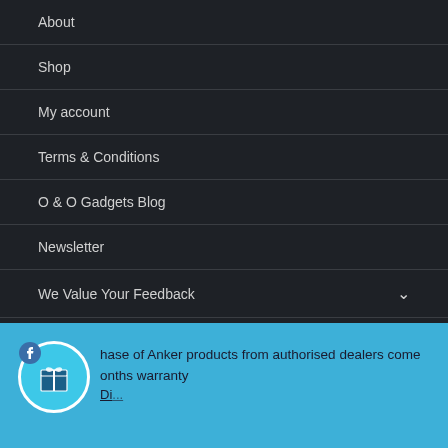About
Shop
My account
Terms & Conditions
O & O Gadgets Blog
Newsletter
We Value Your Feedback
Follow Us
[Figure (other): Social media icons: Twitter, Facebook, Instagram]
hase of Anker products from authorised dealers come onths warranty
Di...